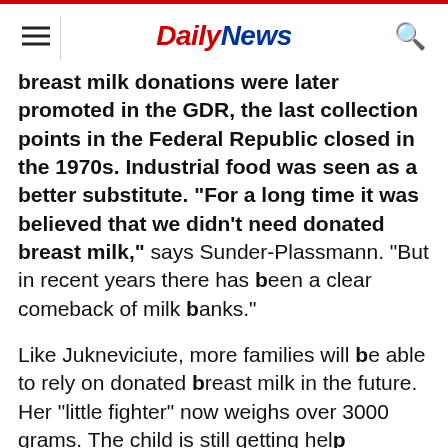Daily News
breast milk donations were later promoted in the GDR, the last collection points in the Federal Republic closed in the 1970s. Industrial food was seen as a better substitute. "For a long time it was believed that we didn't need donated breast milk," says Sunder-Plassmann. "But in recent years there has been a clear comeback of milk banks."
Like Jukneviciute, more families will be able to rely on donated breast milk in the future. Her "little fighter" now weighs over 3000 grams. The child is still getting help breathing. "We still have a little time," says Jukneviciute. "I hope that Freyja can make that last jump and that we can go home without the breathing aid." The mother's milk donor for her daughter is known only to the hospital staff.